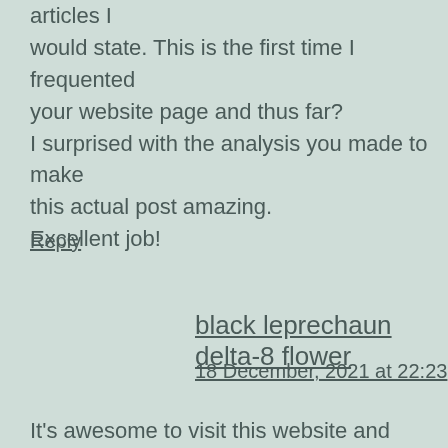articles I would state. This is the first time I frequented your website page and thus far? I surprised with the analysis you made to make this actual post amazing. Excellent job!
Reply
black leprechaun delta-8 flower
18 December, 2021 at 22:23
It's awesome to visit this website and reading